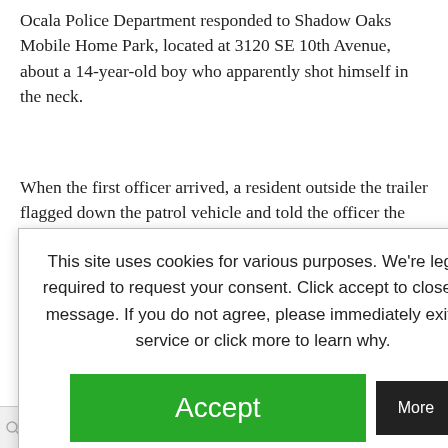Ocala Police Department responded to Shadow Oaks Mobile Home Park, located at 3120 SE 10th Avenue, about a 14-year-old boy who apparently shot himself in the neck.
When the first officer arrived, a resident outside the trailer flagged down the patrol vehicle and told the officer the teen was lying down inside on the living room floor. Two adult [partially obscured] actively applying [obscured] took over the [obscured] teen began to take [obscured] ed, took over [obscured] the hospital.
This site uses cookies for various purposes. We're legally required to request your consent. Click accept to close this message. If you do not agree, please immediately exit the service or click more to learn why.
Accept
More
AINS
SEARCHEN | RegisterYourDomains.com | register your domain today | Get Started